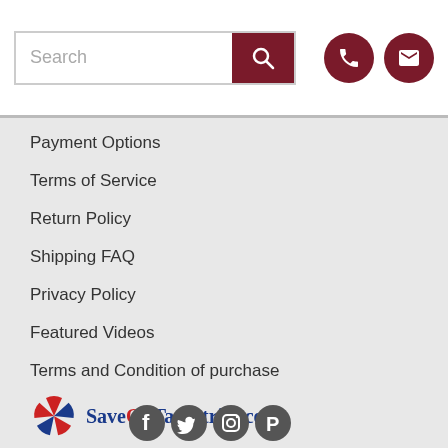[Figure (screenshot): Website header with search bar and dark red search button, plus phone and email icon buttons in dark red circles]
Payment Options
Terms of Service
Return Policy
Shipping FAQ
Privacy Policy
Featured Videos
Terms and Condition of purchase
[Figure (logo): SaveOnTapestries.com logo with pinwheel/star graphic in red white and blue]
Call: 1-877-298-6623, 1-360-312-3173 (Int.)
Email: marketingatsaveontapestries.com
7068 Portal Way, Unit 130 Ferndale, WA 98248, USA
[Figure (illustration): Social media icons: Facebook, Twitter, Instagram, Pinterest at the bottom of the page]